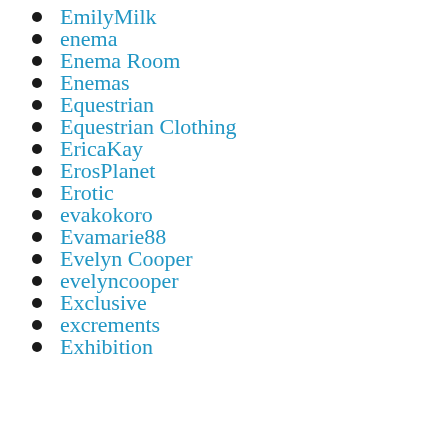EmilyMilk
enema
Enema Room
Enemas
Equestrian
Equestrian Clothing
EricaKay
ErosPlanet
Erotic
evakokoro
Evamarie88
Evelyn Cooper
evelyncooper
Exclusive
excrements
Exhibition